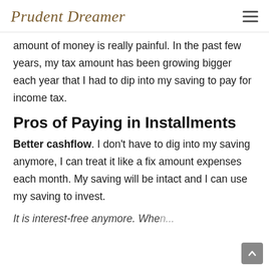Prudent Dreamer
amount of money is really painful. In the past few years, my tax amount has been growing bigger each year that I had to dip into my saving to pay for income tax.
Pros of Paying in Installments
Better cashflow. I don't have to dig into my saving anymore, I can treat it like a fix amount expenses each month. My saving will be intact and I can use my saving to invest.
It is interest-free anymore. When...